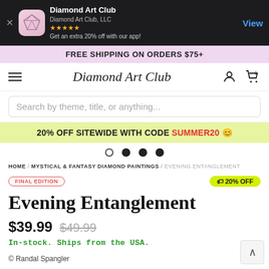[Figure (screenshot): App store banner for Diamond Art Club app showing app icon, name, company, star rating, promo text, and View button on dark background]
FREE SHIPPING ON ORDERS $75+
Diamond Art Club navigation bar with hamburger menu, logo, user icon, and cart icon
Search by theme, title, or anything...
20% OFF SITEWIDE WITH CODE SUMMER20 😊
HOME / MYSTICAL & FANTASY DIAMOND PAINTINGS / EVENING ENTANGLEMENT
FINAL EDITION
🏷 20% OFF
Evening Entanglement
$39.99  $49.99
In-stock. Ships from the USA.
© Randal Spangler